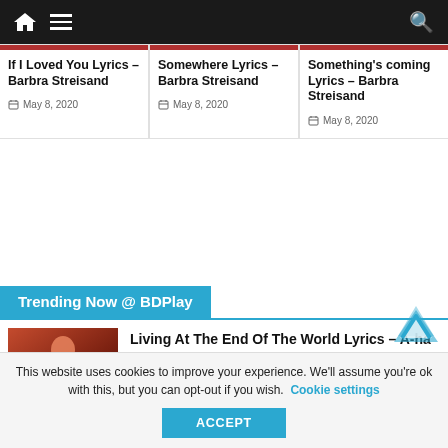Navigation bar with home, menu, and search icons
If I Loved You Lyrics – Barbra Streisand
May 8, 2020
Somewhere Lyrics – Barbra Streisand
May 8, 2020
Something's coming Lyrics – Barbra Streisand
May 8, 2020
Trending Now @ BDPlay
[Figure (photo): Photo of a person singing, with text overlay at the bottom]
Living At The End Of The World Lyrics – A-ha
This website uses cookies to improve your experience. We'll assume you're ok with this, but you can opt-out if you wish. Cookie settings
ACCEPT